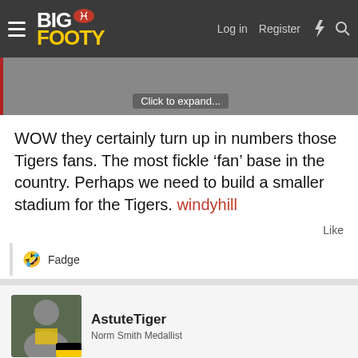BigFooty — Log in  Register
[Figure (screenshot): Partially visible image with 'Click to expand...' overlay]
WOW they certainly turn up in numbers those Tigers fans. The most fickle ‘fan’ base in the country. Perhaps we need to build a smaller stadium for the Tigers. windyhill
Like
🤣 Fadge
AstuteTiger
Norm Smith Medallist
Dickies® | Official Site | Workwear & Apparel